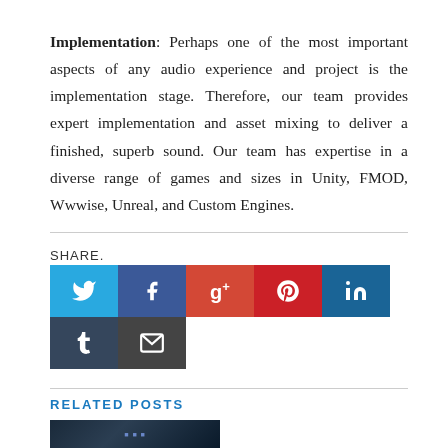Implementation: Perhaps one of the most important aspects of any audio experience and project is the implementation stage. Therefore, our team provides expert implementation and asset mixing to deliver a finished, superb sound. Our team has expertise in a diverse range of games and sizes in Unity, FMOD, Wwwise, Unreal, and Custom Engines.
SHARE.
[Figure (other): Social share buttons: Twitter, Facebook, Google+, Pinterest, LinkedIn (row 1); Tumblr, Email (row 2)]
RELATED POSTS
[Figure (screenshot): Dark blue thumbnail image for a related post]